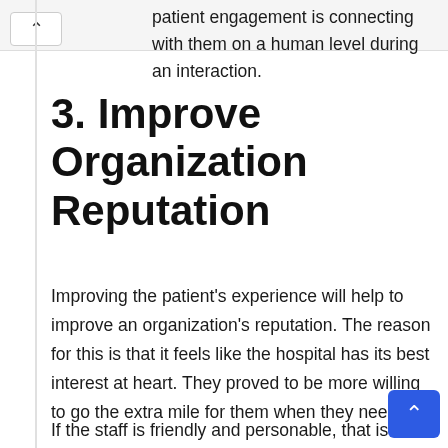patient engagement is connecting with them on a human level during an interaction.
3. Improve Organization Reputation
Improving the patient's experience will help to improve an organization's reputation. The reason for this is that it feels like the hospital has its best interest at heart. They proved to be more willing to go the extra mile for them when they need it.
If the staff is friendly and personable, that is a